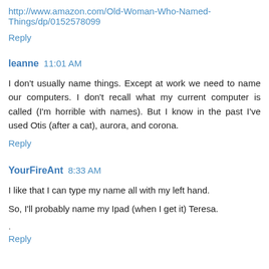http://www.amazon.com/Old-Woman-Who-Named-Things/dp/0152578099
Reply
leanne  11:01 AM
I don't usually name things. Except at work we need to name our computers. I don't recall what my current computer is called (I'm horrible with names). But I know in the past I've used Otis (after a cat), aurora, and corona.
Reply
YourFireAnt  8:33 AM
I like that I can type my name all with my left hand.
So, I'll probably name my Ipad (when I get it) Teresa.
.
Reply